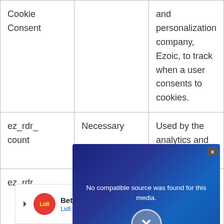|  |  |  |
| --- | --- | --- |
| Cookie Consent |  | and personalization company, Ezoic, to track when a user consents to cookies. |
| ez_rdr_count | Necessary | Used by the analytics and personalization company, Ezoic, to track redirects... |
| ez_rdr | Necessary | Used by the analytics and personalization... |
[Figure (screenshot): Video player overlay showing 'No compatible source was found for this media.' error message with an X icon on a dark blue background with digital/code imagery. A close button (x) is visible in the top right corner.]
[Figure (screenshot): Advertisement banner for Lidl: 'Better Food. Betterer Prices' with Lidl logo (red circle with yellow text) and a blue navigation arrow icon on the right.]